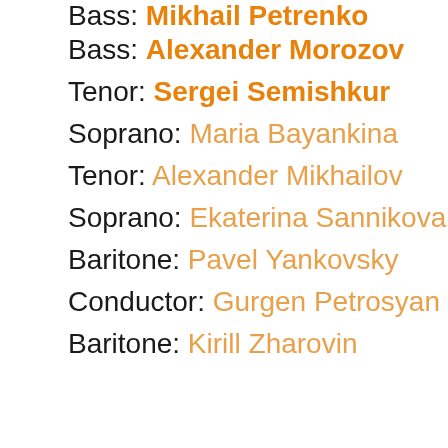Bass: Mikhail Petrenko
Bass: Alexander Morozov
Tenor: Sergei Semishkur
Soprano: Maria Bayankina
Tenor: Alexander Mikhailov
Soprano: Ekaterina Sannikova
Baritone: Pavel Yankovsky
Conductor: Gurgen Petrosyan
Baritone: Kirill Zharovin